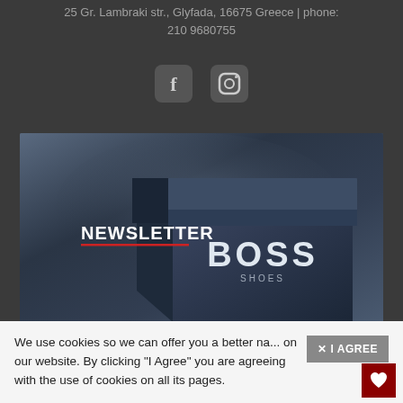25 Gr. Lambraki str., Glyfada, 16675 Greece | phone: 210 9680755
[Figure (illustration): Social media icons: Facebook and Instagram square icons in dark gray]
[Figure (photo): Dark blue BOSS Shoes box on a moody background with NEWSLETTER text and red underline overlay]
We use cookies so we can offer you a better na... on our website. By clicking "I Agree" you are agreeing with the use of cookies on all its pages.